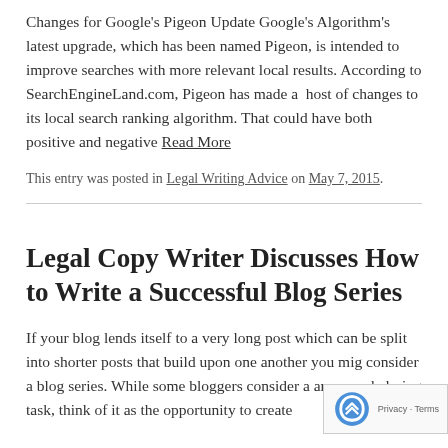Changes for Google's Pigeon Update Google's Algorithm's latest upgrade, which has been named Pigeon, is intended to improve searches with more relevant local results. According to SearchEngineLand.com, Pigeon has made a host of changes to its local search ranking algorithm. That could have both positive and negative Read More
This entry was posted in Legal Writing Advice on May 7, 2015.
Legal Copy Writer Discusses How to Write a Successful Blog Series
If your blog lends itself to a very long post which can be split into shorter posts that build upon one another you might consider a blog series. While some bloggers consider a an overwhelming task, think of it as the opportunity to create